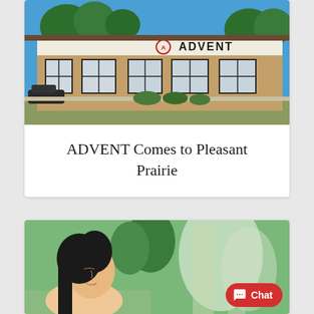[Figure (photo): Exterior photo of an ADVENT medical office building. Single-story brick building with large windows, a white ADVENT logo sign on the facade, blue sky with trees in background, parked car visible on left.]
ADVENT Comes to Pleasant Prairie
[Figure (photo): Partial photo of a woman with dark hair, eyes closed, face tilted upward, with green trees and a building visible in the blurred background.]